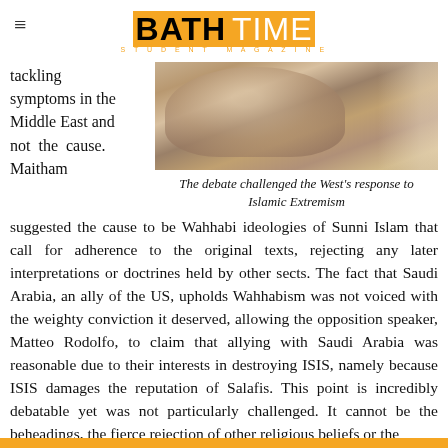BATH TIME STUDENT MAGAZINE
tackling symptoms in the Middle East and not the cause. Maitham
[Figure (photo): Close-up photo of a person, appears to be in Middle Eastern dress, cropped tightly showing face/head area]
The debate challenged the West's response to Islamic Extremism
suggested the cause to be Wahhabi ideologies of Sunni Islam that call for adherence to the original texts, rejecting any later interpretations or doctrines held by other sects. The fact that Saudi Arabia, an ally of the US, upholds Wahhabism was not voiced with the weighty conviction it deserved, allowing the opposition speaker, Matteo Rodolfo, to claim that allying with Saudi Arabia was reasonable due to their interests in destroying ISIS, namely because ISIS damages the reputation of Salafis. This point is incredibly debatable yet was not particularly challenged. It cannot be the beheadings, the fierce rejection of other religious beliefs or the